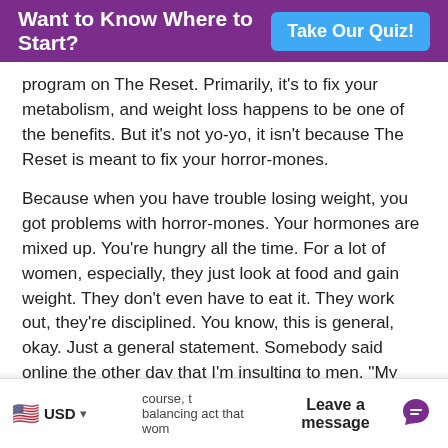Want to Know Where to Start? Take Our Quiz!
program on The Reset. Primarily, it's to fix your metabolism, and weight loss happens to be one of the benefits. But it's not yo-yo, it isn't because The Reset is meant to fix your horror-mones.
Because when you have trouble losing weight, you got problems with horror-mones. Your hormones are mixed up. You're hungry all the time. For a lot of women, especially, they just look at food and gain weight. They don't even have to eat it. They work out, they're disciplined. You know, this is general, okay. Just a general statement. Somebody said online the other day that I'm insulting to men. "My husband won't listen to you because you're insulting men in general." Yeah. I go after men. It's true. I was always known more as a woman's doctor because I tested hormones. It's not that men don't have
USD   Leave a message